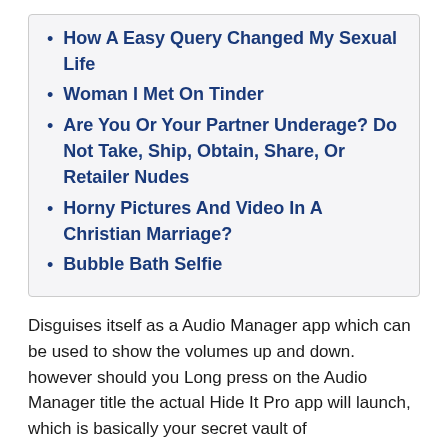How A Easy Query Changed My Sexual Life
Woman I Met On Tinder
Are You Or Your Partner Underage? Do Not Take, Ship, Obtain, Share, Or Retailer Nudes
Horny Pictures And Video In A Christian Marriage?
Bubble Bath Selfie
Disguises itself as a Audio Manager app which can be used to show the volumes up and down. however should you Long press on the Audio Manager title the actual Hide It Pro app will launch, which is basically your secret vault of pics/movies/messages/apps and so on. “People ought to revel in the importance of science. Only about 18% of men reported sending